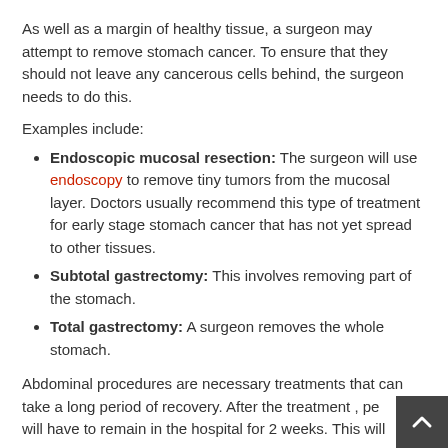As well as a margin of healthy tissue, a surgeon may attempt to remove stomach cancer. To ensure that they should not leave any cancerous cells behind, the surgeon needs to do this.
Examples include:
Endoscopic mucosal resection: The surgeon will use endoscopy to remove tiny tumors from the mucosal layer. Doctors usually recommend this type of treatment for early stage stomach cancer that has not yet spread to other tissues.
Subtotal gastrectomy: This involves removing part of the stomach.
Total gastrectomy: A surgeon removes the whole stomach.
Abdominal procedures are necessary treatments that can take a long period of recovery. After the treatment , pe[ople] will have to remain in the hospital for 2 weeks. This will